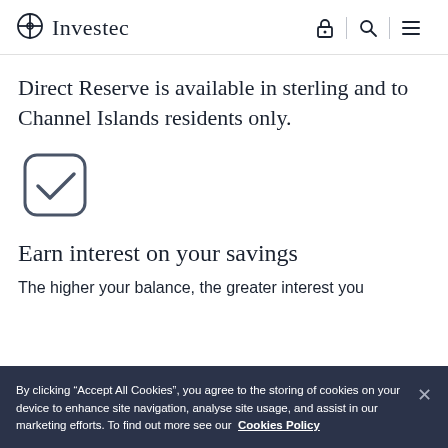Investec
Direct Reserve is available in sterling and to Channel Islands residents only.
[Figure (illustration): Checkbox icon with a checkmark, rounded square outline in dark grey]
Earn interest on your savings
The higher your balance, the greater interest you
By clicking “Accept All Cookies”, you agree to the storing of cookies on your device to enhance site navigation, analyse site usage, and assist in our marketing efforts. To find out more see our Cookies Policy